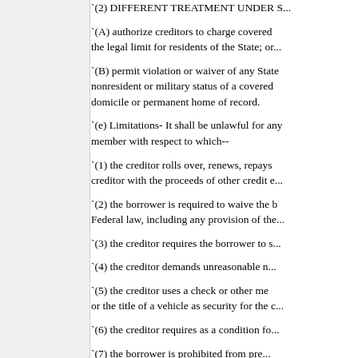`(2) DIFFERENT TREATMENT UNDER S...
`(A) authorize creditors to charge covered... the legal limit for residents of the State; or...
`(B) permit violation or waiver of any State... nonresident or military status of a covered... domicile or permanent home of record.
`(e) Limitations- It shall be unlawful for any... member with respect to which--
`(1) the creditor rolls over, renews, repays... creditor with the proceeds of other credit e...
`(2) the borrower is required to waive the b... Federal law, including any provision of the...
`(3) the creditor requires the borrower to s...
`(4) the creditor demands unreasonable n...
`(5) the creditor uses a check or other me... or the title of a vehicle as security for the c...
`(6) the creditor requires as a condition fo...
`(7) the borrower is prohibited from pre...